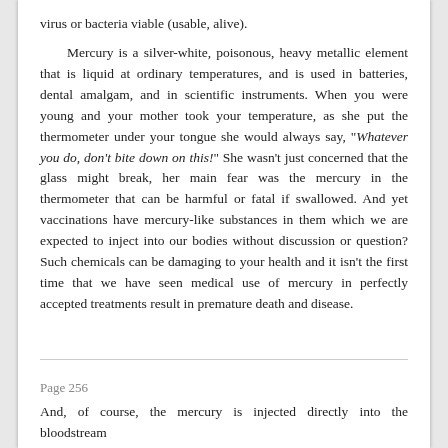virus or bacteria viable (usable, alive). Mercury is a silver-white, poisonous, heavy metallic element that is liquid at ordinary temperatures, and is used in batteries, dental amalgam, and in scientific instruments. When you were young and your mother took your temperature, as she put the thermometer under your tongue she would always say, "Whatever you do, don't bite down on this!" She wasn't just concerned that the glass might break, her main fear was the mercury in the thermometer that can be harmful or fatal if swallowed. And yet vaccinations have mercury-like substances in them which we are expected to inject into our bodies without discussion or question? Such chemicals can be damaging to your health and it isn't the first time that we have seen medical use of mercury in perfectly accepted treatments result in premature death and disease.
Page 256
And, of course, the mercury is injected directly into the bloodstream